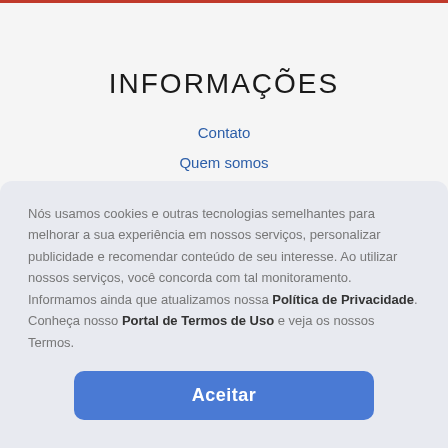INFORMAÇÕES
Contato
Quem somos
Politicas e privacidade
Trocas e Devoluções
Rastreamentos e Pedidos
Nós usamos cookies e outras tecnologias semelhantes para melhorar a sua experiência em nossos serviços, personalizar publicidade e recomendar conteúdo de seu interesse. Ao utilizar nossos serviços, você concorda com tal monitoramento. Informamos ainda que atualizamos nossa Política de Privacidade. Conheça nosso Portal de Termos de Uso e veja os nossos Termos.
Aceitar